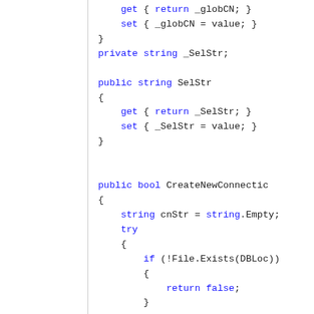[Figure (screenshot): Code snippet showing C# property definitions and a CreateNewConnection method with file existence check and connection string assignment.]